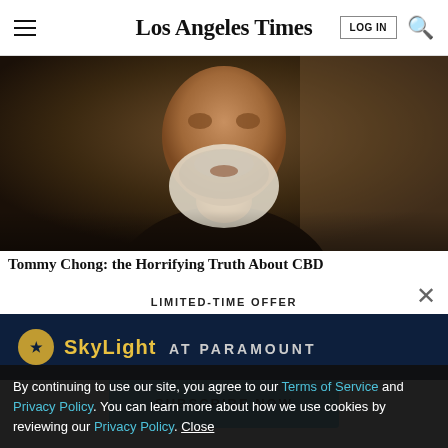Los Angeles Times
[Figure (photo): Close-up photo of an older man with a white beard and dark clothing against a dark background]
Tommy Chong: the Horrifying Truth About CBD
LIMITED-TIME OFFER
$1 for 6 Months
SUBSCRIBE NOW
By continuing to use our site, you agree to our Terms of Service and Privacy Policy. You can learn more about how we use cookies by reviewing our Privacy Policy. Close